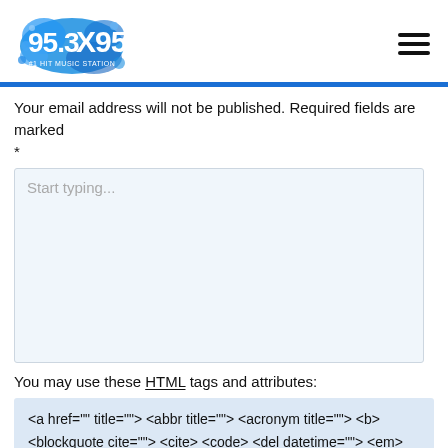[Figure (logo): 95.3 X95 #1 Hit Music Station radio station logo in blue with paint splatter effect]
Your email address will not be published. Required fields are marked *
[Figure (screenshot): Comment text area input field with placeholder text 'Start typing...']
You may use these HTML tags and attributes:
<a href="" title=""> <abbr title=""> <acronym title=""> <b> <blockquote cite=""> <cite> <code> <del datetime=""> <em> <i> <q cite=""> <s> <strike> <strong>